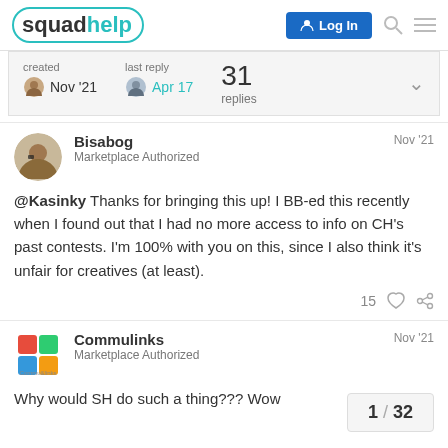squadhelp | Log In
created Nov '21   last reply Apr 17   31 replies
Bisabog  Nov '21
Marketplace Authorized

@Kasinky Thanks for bringing this up! I BB-ed this recently when I found out that I had no more access to info on CH's past contests. I'm 100% with you on this, since I also think it's unfair for creatives (at least).

15
Commulinks  Nov '21
Marketplace Authorized

Why would SH do such a thing??? Wow
1 / 32